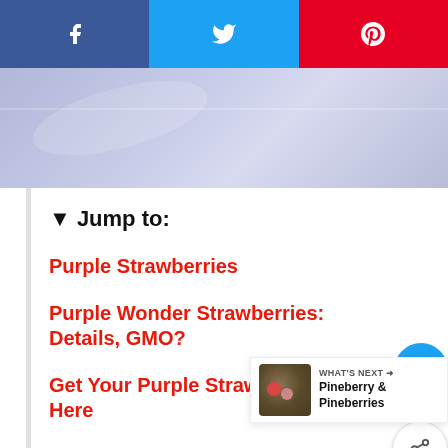[Figure (screenshot): Social share bar with Facebook (blue), Twitter (light blue), and Pinterest (red) buttons]
[Figure (photo): Hero image with purple/lavender marble or fabric texture background]
▼ Jump to:
Purple Strawberries
Purple Wonder Strawberries: Details, GMO?
Get Your Purple Strawberries Here
Purple Strawberry Plants: